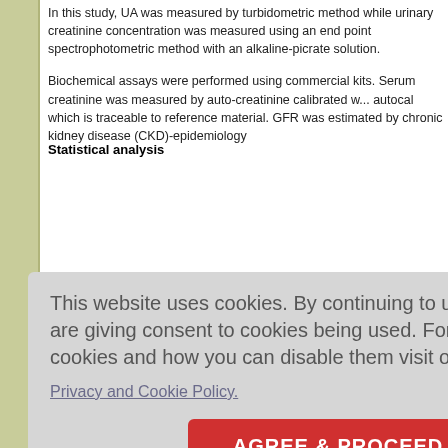In this study, UA was measured by turbidometric method while urinary creatinine concentration was measured using an end point spectrophotometric method with an alkaline-picrate solution.
Biochemical assays were performed using commercial kits. Serum creatinine was measured by auto-creatinine calibrated with autocal which is traceable to reference material. GFR was estimated by chronic kidney disease (CKD)-epidemiology
no radiom... Beckman
roxy Vitam...
TROS um creati... metric me...
This website uses cookies. By continuing to use this website you are giving consent to cookies being used. For information on cookies and how you can disable them visit our
Privacy and Cookie Policy.
AGREE & PROCEED
Statistical analysis